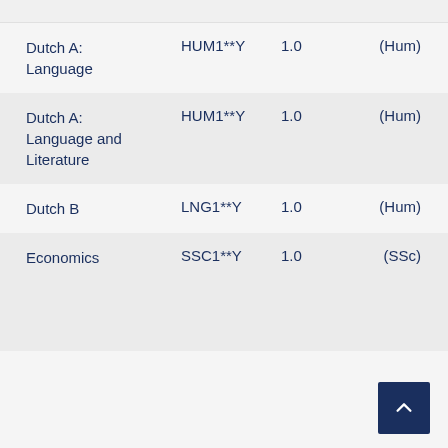| Subject | Code | Credits | Category |
| --- | --- | --- | --- |
| Dutch A: Language | HUM1**Y | 1.0 | (Hum) |
| Dutch A: Language and Literature | HUM1**Y | 1.0 | (Hum) |
| Dutch B | LNG1**Y | 1.0 | (Hum) |
| Economics | SSC1**Y | 1.0 | (SSc) |